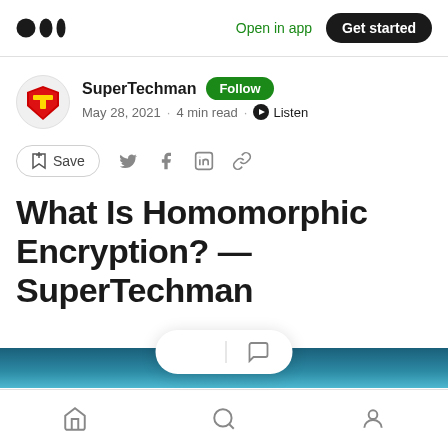Medium logo | Open in app | Get started
SuperTechman  Follow
May 28, 2021 · 4 min read · Listen
Save
What Is Homomorphic Encryption? — SuperTechman
[Figure (screenshot): Article header image — teal/blue background]
Home | Search | Profile